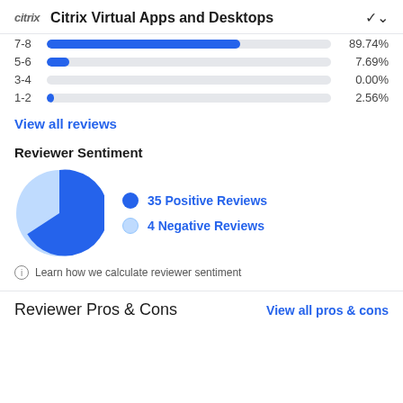Citrix Virtual Apps and Desktops
[Figure (bar-chart): Horizontal bar chart showing rating distribution. 5-6: 7.69%, 3-4: 0.00%, 1-2: 2.56%. Top row (7-8 or similar) partially visible.]
View all reviews
Reviewer Sentiment
[Figure (pie-chart): Reviewer Sentiment]
Learn how we calculate reviewer sentiment
Reviewer Pros & Cons
View all pros & cons